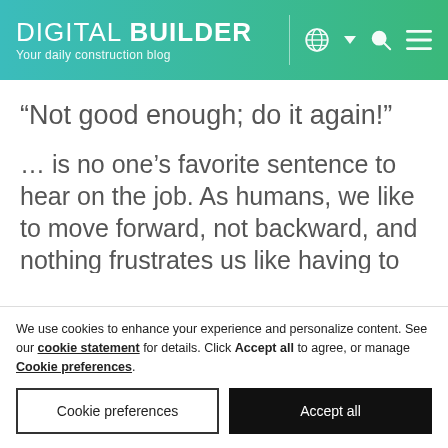DIGITAL BUILDER – Your daily construction blog
“Not good enough; do it again!”
… is no one’s favorite sentence to hear on the job. As humans, we like to move forward, not backward, and nothing frustrates us like having to retrace our
We use cookies to enhance your experience and personalize content. See our cookie statement for details. Click Accept all to agree, or manage Cookie preferences.
Cookie preferences | Accept all